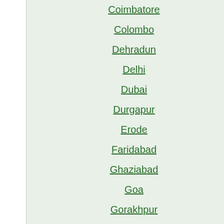Coimbatore
Colombo
Dehradun
Delhi
Dubai
Durgapur
Erode
Faridabad
Ghaziabad
Goa
Gorakhpur
Gujarat
Guntur
Gurgaon
Guwahati
Gwalior